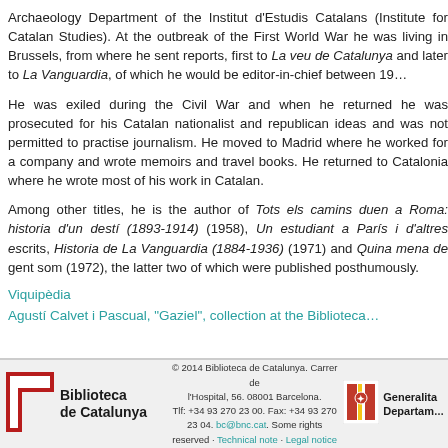Archaeology Department of the Institut d'Estudis Catalans (Institute for Catalan Studies). At the outbreak of the First World War he was living in Brussels, from where he sent reports, first to La veu de Catalunya and later to La Vanguardia, of which he would be editor-in-chief between 19...
He was exiled during the Civil War and when he returned he was prosecuted for his Catalan nationalist and republican ideas and was not permitted to practise journalism. He moved to Madrid where he worked for a company and wrote memoirs and travel books. He returned to Catalonia where he wrote most of his work in Catalan.
Among other titles, he is the author of Tots els camins duen a Roma: historia d'un destí (1893-1914) (1958), Un estudiant a París i d'altres escrits, Historia de La Vanguardia (1884-1936) (1971) and Quina mena de gent som (1972), the latter two of which were published posthumously.
Viquipèdia
Agustí Calvet i Pascual, "Gaziel", collection at the Biblioteca de Catalunya
© 2014 Biblioteca de Catalunya. Carrer de l'Hospital, 56. 08001 Barcelona. Tlf: +34 93 270 23 00. Fax: +34 93 270 23 04. bc@bnc.cat. Some rights reserved · Technical note · Legal notice